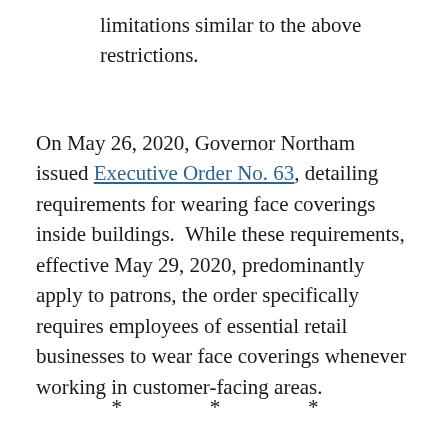limitations similar to the above restrictions.
On May 26, 2020, Governor Northam issued Executive Order No. 63, detailing requirements for wearing face coverings inside buildings. While these requirements, effective May 29, 2020, predominantly apply to patrons, the order specifically requires employees of essential retail businesses to wear face coverings whenever working in customer-facing areas.
* * *